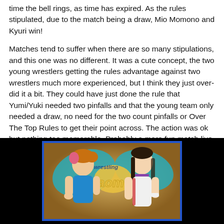time the bell rings, as time has expired. As the rules stipulated, due to the match being a draw, Mio Momono and Kyuri win!
Matches tend to suffer when there are so many stipulations, and this one was no different. It was a cute concept, the two young wrestlers getting the rules advantage against two wrestlers much more experienced, but I think they just over-did it a bit. They could have just done the rule that Yumi/Yuki needed two pinfalls and that the young team only needed a draw, no need for the two count pinfalls or Over The Top Rules to get their point across. The action was ok but nothing too memorable. Probably a more fun match live but a bit too weighed down by stipulations for my preference.
[Figure (photo): Two female wrestlers posed in front of a wrestling event logo/banner. The wrestler on the left has short hair with pink highlights and wears a blue sleeveless top. The wrestler on the right has long dark hair and wears a white outfit with a purple choker. The background shows a gold/yellow wrestling event logo with 'wrestling' text visible.]